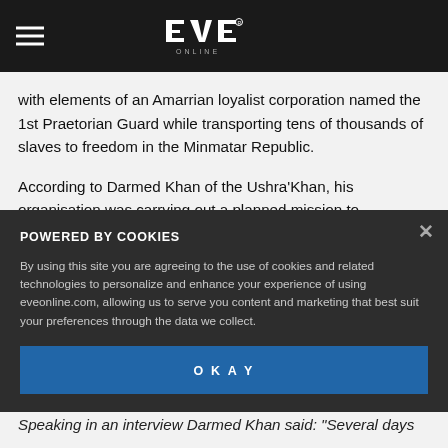EVE Online
with elements of an Amarrian loyalist corporation named the 1st Praetorian Guard while transporting tens of thousands of slaves to freedom in the Minmatar Republic.
According to Darmed Khan of the Ushra'Khan, his organisation was carrying out a planned mission to
POWERED BY COOKIES
By using this site you are agreeing to the use of cookies and related technologies to personalize and enhance your experience of using eveonline.com, allowing us to serve you content and marketing that best suit your preferences through the data we collect.
OKAY
Speaking in an interview Darmed Khan said: "Several days